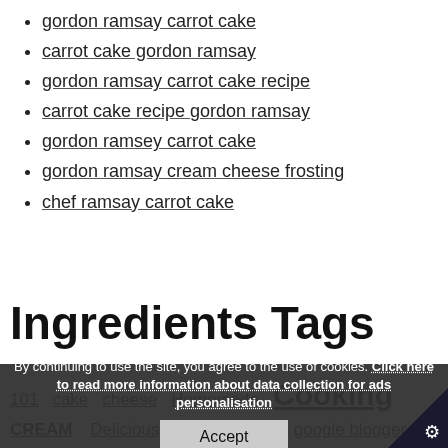gordon ramsay carrot cake
carrot cake gordon ramsay
gordon ramsay carrot cake recipe
carrot cake recipe gordon ramsay
gordon ramsey carrot cake
gordon ramsay cream cheese frosting
chef ramsay carrot cake
Ingredients Tags
101  cake  cheese  Homemade  Cooking  CREAM  Delicious  EASY  Fork  google blogger  gordon
By continuing to use the site, you agree to the use of cookies. Click here to read more information about data collection for ads personalisation  Accept